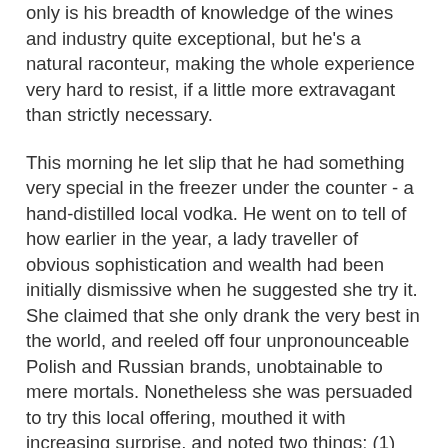only is his breadth of knowledge of the wines and industry quite exceptional, but he's a natural raconteur, making the whole experience very hard to resist, if a little more extravagant than strictly necessary.
This morning he let slip that he had something very special in the freezer under the counter - a hand-distilled local vodka. He went on to tell of how earlier in the year, a lady traveller of obvious sophistication and wealth had been initially dismissive when he suggested she try it. She claimed that she only drank the very best in the world, and reeled off four unpronounceable Polish and Russian brands, unobtainable to mere mortals. Nonetheless she was persuaded to try this local offering, mouthed it with increasing surprise, and noted two things: (1) this vodka is made with spelt; and (2) it is as good as the very best.
I know nothing about vodka except that everything I've ever tasted before bears more resemblance to lab ethanol than any distilled product worth drinking for the flavour. Now, like many science graduates, I have consumed lab ethanol on many occasions, and am therefore qualified to make this